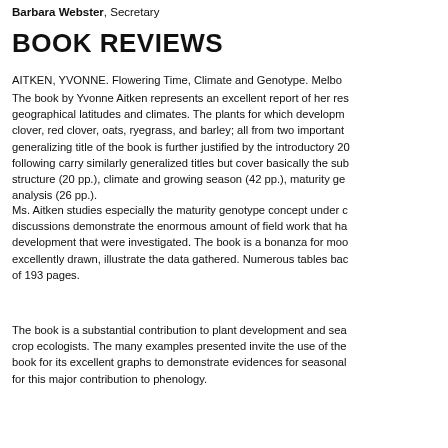Barbara Webster, Secretary
BOOK REVIEWS
AITKEN, YVONNE. Flowering Time, Climate and Genotype. Melbo...
The book by Yvonne Aitken represents an excellent report of her res... geographical latitudes and climates. The plants for which developm... clover, red clover, oats, ryegrass, and barley; all from two important... generalizing title of the book is further justified by the introductory 20... following carry similarly generalized titles but cover basically the sub... structure (20 pp.), climate and growing season (42 pp.), maturity ge... analysis (26 pp.).
Ms. Aitken studies especially the maturity genotype concept under c... discussions demonstrate the enormous amount of field work that ha... development that were investigated. The book is a bonanza for moo... excellently drawn, illustrate the data gathered. Numerous tables bac... of 193 pages.
The book is a substantial contribution to plant development and sea... crop ecologists. The many examples presented invite the use of the... book for its excellent graphs to demonstrate evidences for seasonal... for this major contribution to phenology.